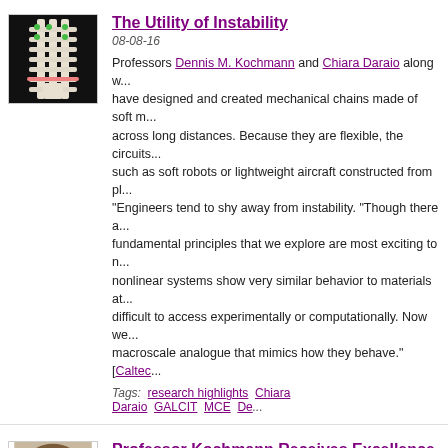[Figure (photo): Photo of mechanical chain/lattice structure on black background with green and orange/pink pins/markers]
The Utility of Instability
08-08-16
Professors Dennis M. Kochmann and Chiara Daraio along w... have designed and created mechanical chains made of soft m... across long distances. Because they are flexible, the circuits... such as soft robots or lightweight aircraft constructed from pl... "Engineers tend to shy away from instability. "Though there a... fundamental principles that we explore are most exciting to n... nonlinear systems show very similar behavior to materials at... difficult to access experimentally or computationally. Now we... macroscale analogue that mimics how they behave." [Caltec...
Tags:  research highlights  Chiara Daraio  GALCIT  MCE  De...
[Figure (photo): Photo of a young man with curly hair, smiling, wearing a white shirt]
Professor Kochmann Receives Excellence in...
06-16-14
Dennis Kochmann, Assistant Professor of Aerospace, has on... Graduate Student Council (GSC) Excellence in Teaching Awa... GSC each year to one professor for excellence in classroom...
Tags:  honors  GALCIT  Dennis Kochmann